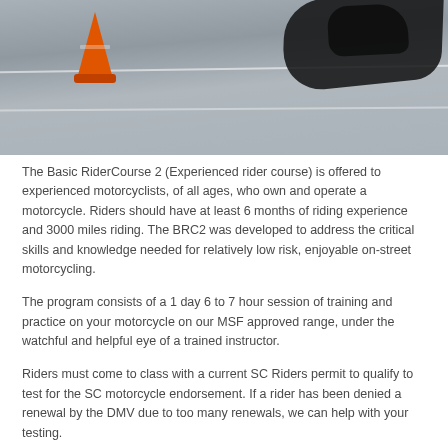[Figure (photo): A motorcycle rider leaning on a parking lot or range course, with an orange traffic cone visible in the foreground left. The surface is gray asphalt with white lane markings.]
The Basic RiderCourse 2 (Experienced rider course) is offered to experienced motorcyclists, of all ages, who own and operate a motorcycle. Riders should have at least 6 months of riding experience and 3000 miles riding. The BRC2 was developed to address the critical skills and knowledge needed for relatively low risk, enjoyable on-street motorcycling.
The program consists of a 1 day 6 to 7 hour session of training and practice on your motorcycle on our MSF approved range, under the watchful and helpful eye of a trained instructor.
Riders must come to class with a current SC Riders permit to qualify to test for the SC motorcycle endorsement. If a rider has been denied a renewal by the DMV due to too many renewals, we can help with your testing.
A course completion card is provided to each student that could possibly...